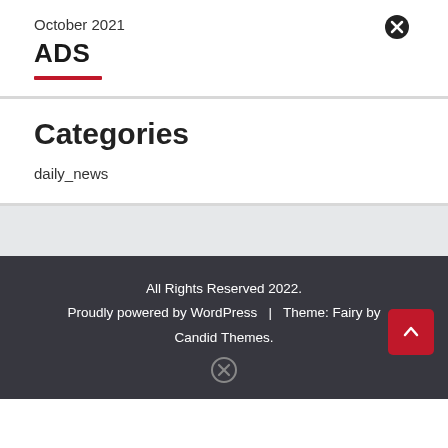October 2021
ADS
Categories
daily_news
All Rights Reserved 2022. Proudly powered by WordPress | Theme: Fairy by Candid Themes.